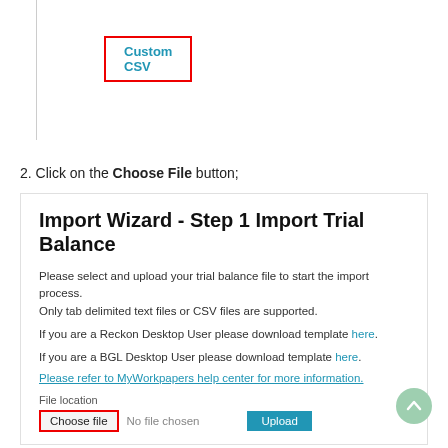[Figure (screenshot): A tab/button labeled 'Custom CSV' with a red border highlight, shown as part of a UI navigation element with a left vertical border line.]
2. Click on the Choose File button;
[Figure (screenshot): Screenshot of 'Import Wizard - Step 1 Import Trial Balance' dialog. Contains instructions to select and upload trial balance file, links for Reckon Desktop and BGL Desktop users, a help center link, a File location section with Choose file button (red bordered), No file chosen text, and Upload button.]